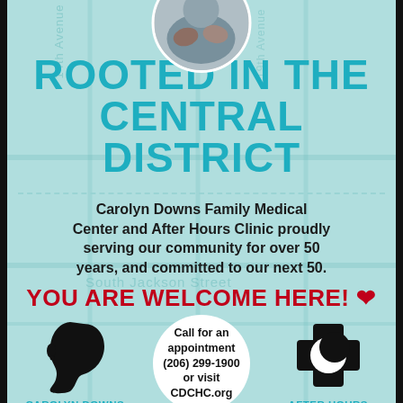[Figure (photo): Circular photo of medical professional hands at top center of page]
ROOTED IN THE CENTRAL DISTRICT
Carolyn Downs Family Medical Center and After Hours Clinic proudly serving our community for over 50 years, and committed to our next 50.
YOU ARE WELCOME HERE! ♥
[Figure (illustration): Black silhouette icon of a person's head profile (Carolyn Downs)]
Call for an appointment (206) 299-1900 or visit CDCHC.org
[Figure (illustration): Black medical cross with crescent moon icon (After Hours)]
CAROLYN DOWNS
AFTER HOURS